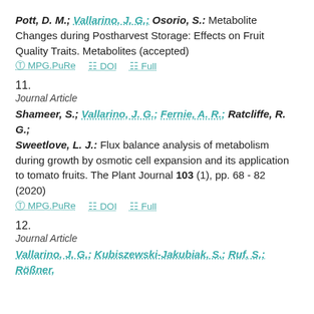Pott, D. M.; Vallarino, J. G.; Osorio, S.: Metabolite Changes during Postharvest Storage: Effects on Fruit Quality Traits. Metabolites (accepted)
MPG.PuRe  DOI  Full
11.
Journal Article
Shameer, S.; Vallarino, J. G.; Fernie, A. R.; Ratcliffe, R. G.; Sweetlove, L. J.: Flux balance analysis of metabolism during growth by osmotic cell expansion and its application to tomato fruits. The Plant Journal 103 (1), pp. 68 - 82 (2020)
MPG.PuRe  DOI  Full
12.
Journal Article
Vallarino, J. G.; Kubiszewski-Jakubiak, S.; Ruf, S.; Rößner,